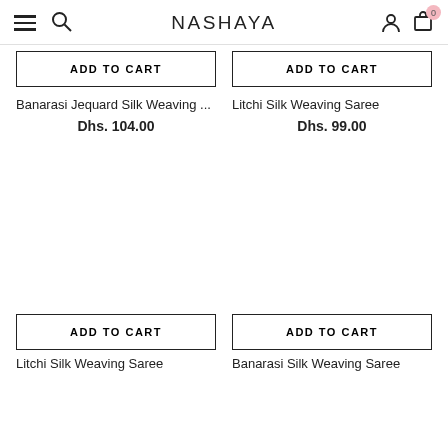NASHAYA
ADD TO CART
ADD TO CART
Banarasi Jequard Silk Weaving ...
Dhs. 104.00
Litchi Silk Weaving Saree
Dhs. 99.00
ADD TO CART
ADD TO CART
Litchi Silk Weaving Saree
Banarasi Silk Weaving Saree